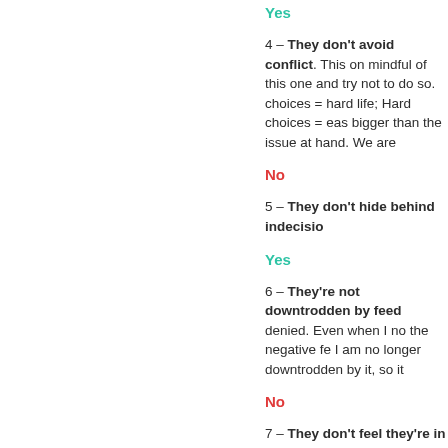Yes
4 – They don't avoid conflict. This one mindful of this one and try not to do so. choices = hard life; Hard choices = eas bigger than the issue at hand. We are
No
5 – They don't hide behind indecisio
Yes
6 – They're not downtrodden by feed denied. Even when I no the negative fe I am no longer downtrodden by it, so it
No
7 – They don't feel they're in compet I competed with anyone on anything I l this defeatist-neurosis is now I seldom
Yes
8 – They're no afraid to take a stand my stand if someone shows me intellig
Yes